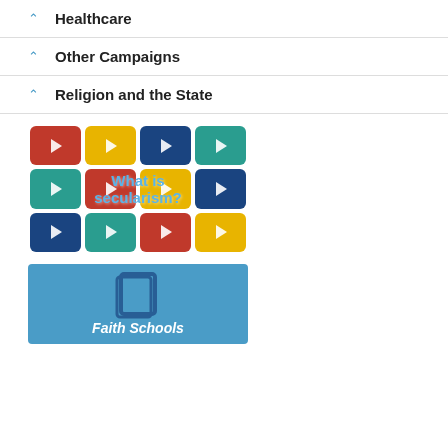Healthcare
Other Campaigns
Religion and the State
[Figure (screenshot): Grid of colorful YouTube-style play buttons in red, yellow, blue, teal and gold with overlay text 'What is secularism?']
[Figure (screenshot): Blue background image with text 'Faith Schools' partially visible at the bottom]